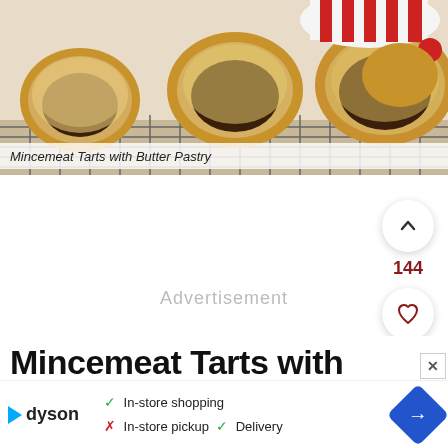[Figure (photo): Photo of mincemeat tarts with butter pastry on a cooling rack, with a red and white striped bowl in the background]
Mincemeat Tarts with Butter Pastry
Advertisement
144
Mincemeat Tarts with Butter Pastry!
In-store shopping  In-store pickup  Delivery